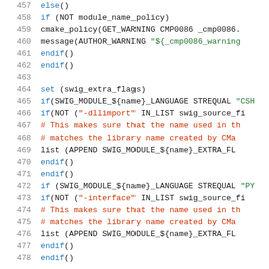[Figure (screenshot): Source code listing in CMake language, lines 457-478, showing conditional logic for SWIG module language settings with syntax highlighting: line numbers in gray, keywords in blue, string literals in green/red, comments in red.]